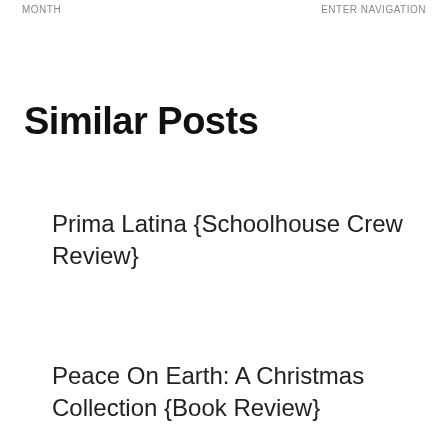MONTH   ENTER NAVIGATION
Similar Posts
Prima Latina {Schoolhouse Crew Review}
Peace On Earth: A Christmas Collection {Book Review}